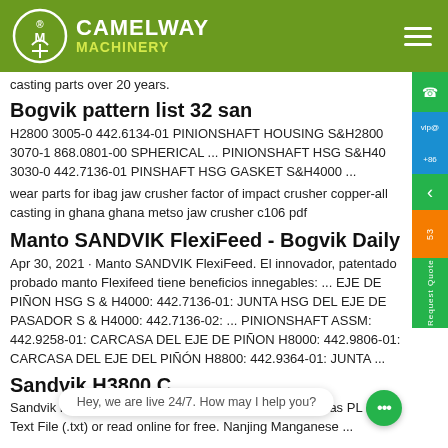CAMELWAY MACHINERY
casting parts over 20 years.
Bogvik pattern list 32 san
H2800 3005-0 442.6134-01 PINIONSHAFT HOUSING S&H2800 3070-1 868.0801-00 SPHERICAL ... PINIONSHAFT HSG S&H40 3030-0 442.7136-01 PINSHAFT HSG GASKET S&H4000 ...
wear parts for ibag jaw crusher factor of impact crusher copper-all casting in ghana ghana metso jaw crusher c106 pdf
Manto SANDVIK FlexiFeed - Bogvik Daily
Apr 30, 2021 · Manto SANDVIK FlexiFeed. El innovador, patentado probado manto Flexifeed tiene beneficios innegables: ... EJE DE PIÑON HSG S & H4000: 442.7136-01: JUNTA HSG DEL EJE DE PASADOR S & H4000: 442.7136-02: ... PINIONSHAFT ASSM: 442.9258-01: CARCASA DEL EJE DE PIÑON H8000: 442.9806-01: CARCASA DEL EJE DEL PIÑÓN H8800: 442.9364-01: JUNTA ...
Sandvik H3800 C...
Sandvik H3800 Crusher Parts Manual - Free download as PL (.pdf), Text File (.txt) or read online for free. Nanjing Manganese ...
Hey, we are live 24/7. How may I help you?